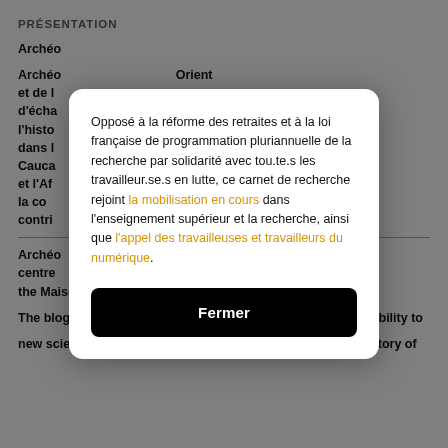PRÉSENTATION
Archéo... Archéo... Orient et de l... espace d'écha... ie et l'histo... ène dans l... Cauca... rique et l'Af... ts de la co... contri...
Opposé à la réforme des retraites et à la loi française de programmation pluriannuelle de la recherche par solidarité avec tou.te.s les travailleur.se.s en lutte, ce carnet de recherche rejoint la mobilisation en cours dans l'enseignement supérieur et la recherche, ainsi que l'appel des travailleuses et travailleurs du numérique.
Fermer
Archéo... research centre... ed at the Maison de l'Orient et de la Méditerranée (Lyon, France).
The blog aims to promote exchanges and to give greater visibility to new scientific information in the field of archaeology and history of